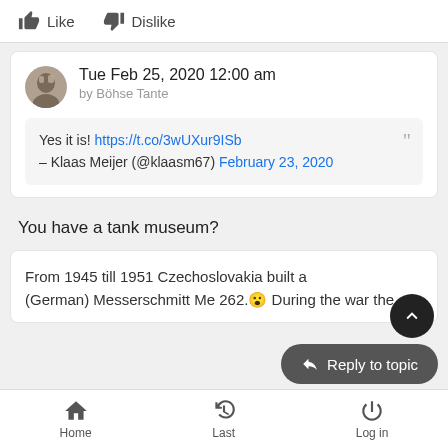Like   Dislike
Tue Feb 25, 2020 12:00 am
by Böhse Tante
Yes it is! https://t.co/3wUXur9ISb
– Klaas Meijer (@klaasm67) February 23, 2020
You have a tank museum?
From 1945 till 1951 Czechoslovakia built a (German) Messerschmitt Me 262. 😲 During the war the
Home   Last   Log in